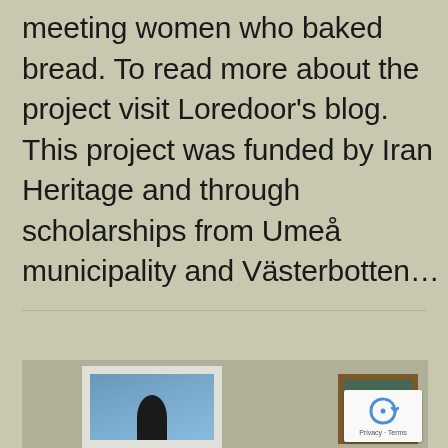meeting women who baked bread. To read more about the project visit Loredoor's blog. This project was funded by Iran Heritage and through scholarships from Umeå municipality and Västerbotten...
[Figure (photo): Two framed artworks displayed on a table or shelf against a neutral background. Left frame is white with a photograph showing a silhouette figure against a blue sky. Right frame has a wooden border with a green/teal painting.]